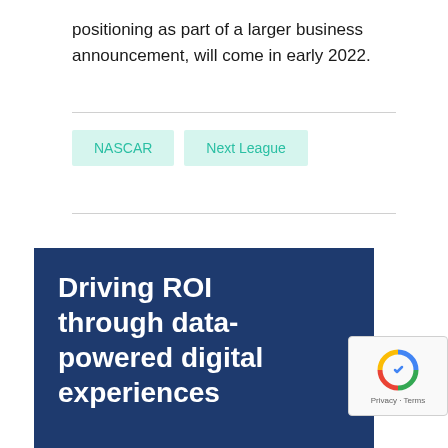positioning as part of a larger business announcement, will come in early 2022.
NASCAR
Next League
Driving ROI through data-powered digital experiences